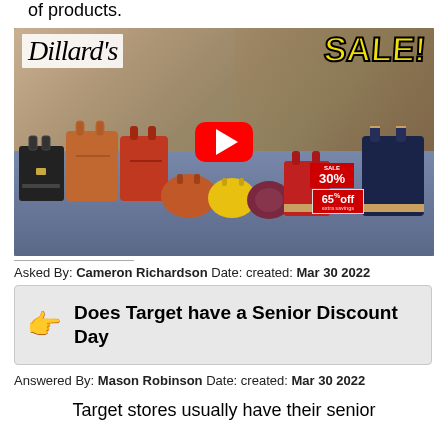of products.
[Figure (screenshot): Dillard's SALE! YouTube video thumbnail showing a store display table covered with a blue tablecloth holding numerous handbags and purses of various colors. The Dillard's logo appears in the top left and a bright yellow SALE! text appears in the top right. A red YouTube play button is centered on the image. Sale signs showing 30% and 65% off are visible on the right side.]
Asked By: Cameron Richardson Date: created: Mar 30 2022
Does Target have a Senior Discount Day
Answered By: Mason Robinson Date: created: Mar 30 2022
Target stores usually have their senior